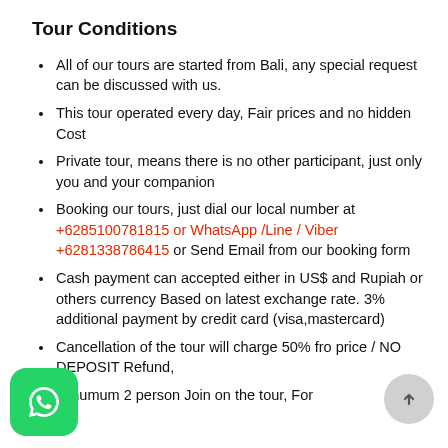Tour Conditions
All of our tours are started from Bali, any special request can be discussed with us.
This tour operated every day, Fair prices and no hidden Cost
Private tour, means there is no other participant, just only you and your companion
Booking our tours, just dial our local number at +6285100781815 or WhatsApp /Line / Viber +6281338786415 or Send Email from our booking form
Cash payment can accepted either in US$ and Rupiah or others currency Based on latest exchange rate. 3% additional payment by credit card (visa,mastercard)
Cancellation of the tour will charge 50% fro price / NO DEPOSIT Refund,
Minumum 2 person Join on the tour, For